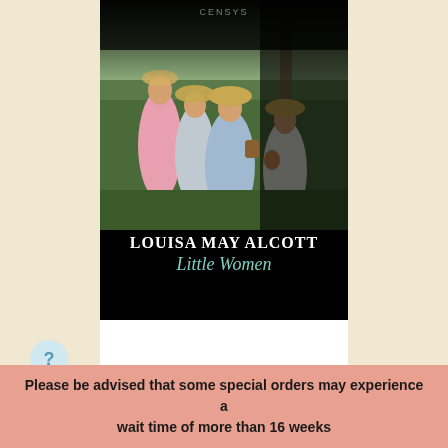[Figure (illustration): Book cover of 'Little Women' by Louisa May Alcott. Shows four girls in Victorian-era dresses and bonnets walking outdoors in a garden setting. The upper and right portions of the cover are darkened with a vignette effect. The author name 'LOUISA MAY ALCOTT' appears in white bold text and the title 'Little Women' appears in teal italic text at the bottom of the cover.]
LITTLE WOMEN
Please be advised that some special orders may experience a wait time of more than 16 weeks